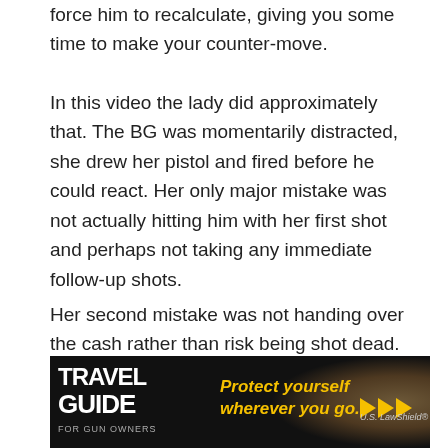force him to recalculate, giving you some time to make your counter-move.
In this video the lady did approximately that. The BG was momentarily distracted, she drew her pistol and fired before he could react. Her only major mistake was not actually hitting him with her first shot and perhaps not taking any immediate follow-up shots.
Her second mistake was not handing over the cash rather than risk being shot dead. It is highly probable the cash is insured against robbery and she had a video and cash register tape to prove the loss.
[Figure (advertisement): Travel Guide For Gun Owners advertisement banner with US LawShield branding and slogan 'Protect yourself wherever you go.' with yellow arrow graphics on dark background.]